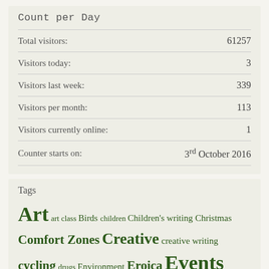Count per Day
| Label | Value |
| --- | --- |
| Total visitors: | 61257 |
| Visitors today: | 3 |
| Visitors last week: | 339 |
| Visitors per month: | 113 |
| Visitors currently online: | 1 |
| Counter starts on: | 3rd October 2016 |
Tags
Art art class Birds children Children's writing Christmas Comfort Zones Creative creative writing cycling drugs Environment Eroica Events Facilitation ...